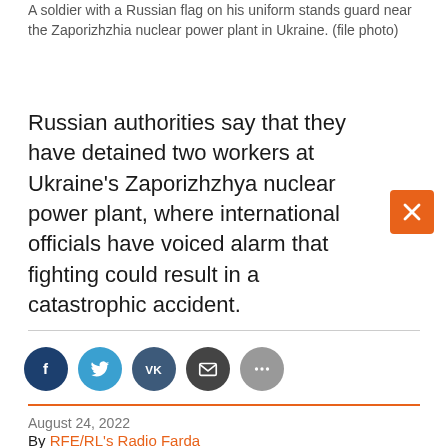A soldier with a Russian flag on his uniform stands guard near the Zaporizhzhia nuclear power plant in Ukraine. (file photo)
Russian authorities say that they have detained two workers at Ukraine's Zaporizhzhya nuclear power plant, where international officials have voiced alarm that fighting could result in a catastrophic accident.
[Figure (other): Orange close/dismiss button with X symbol]
[Figure (other): Social sharing icons row: Facebook (dark blue), Twitter (light blue), VK (dark teal), Email (dark gray), More (gray)]
August 24, 2022
By RFE/RL's Radio Farda